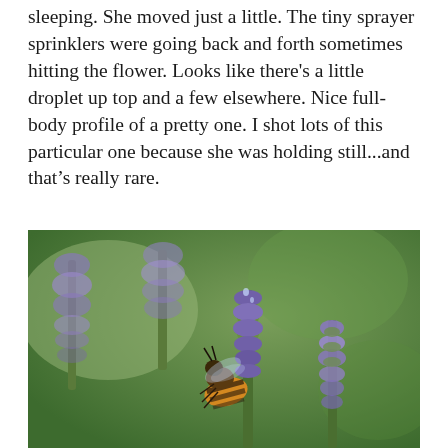sleeping. She moved just a little. The tiny sprayer sprinklers were going back and forth sometimes hitting the flower. Looks like there's a little droplet up top and a few elsewhere. Nice full-body profile of a pretty one. I shot lots of this particular one because she was holding still...and that's really rare.
[Figure (photo): Close-up macro photograph of a honeybee on a purple lavender flower spike. The bee is positioned centrally on the flower, with other lavender spikes visible in the blurred green background. The image has shallow depth of field, with the bee and central flower in focus.]